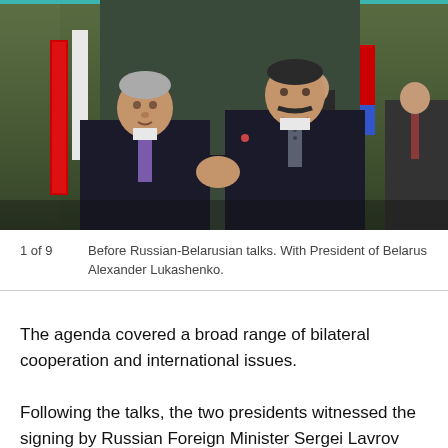[Figure (photo): Two men in dark suits shaking hands before Russian-Belarusian talks. On the left is a shorter man with grey hair; on the right is a taller man with a mustache. Background shows green/gold curtains, flags including Belarusian red flag, and two men in background. Setting appears to be an official government reception room.]
1 of 9    Before Russian-Belarusian talks. With President of Belarus Alexander Lukashenko.
The agenda covered a broad range of bilateral cooperation and international issues.
Following the talks, the two presidents witnessed the signing by Russian Foreign Minister Sergei Lavrov and Belarusian